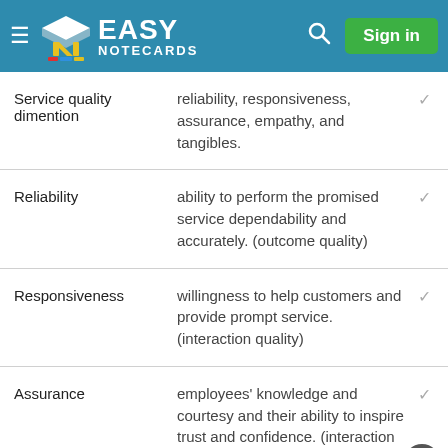Easy Notecards — Sign in
| Term | Definition |
| --- | --- |
| Service quality dimention | reliability, responsiveness, assurance, empathy, and tangibles. |
| Reliability | ability to perform the promised service dependability and accurately. (outcome quality) |
| Responsiveness | willingness to help customers and provide prompt service. (interaction quality) |
| Assurance | employees' knowledge and courtesy and their ability to inspire trust and confidence. (interaction quality) |